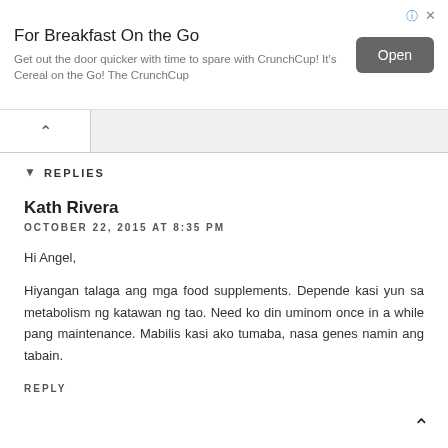[Figure (screenshot): Advertisement banner: 'For Breakfast On the Go' with body text 'Get out the door quicker with time to spare with CrunchCup! It's Cereal on the Go! The CrunchCup' and an 'Open' button. Info and close icons in top right.]
REPLIES
Kath Rivera
OCTOBER 22, 2015 AT 8:35 PM
Hi Angel,
Hiyangan talaga ang mga food supplements. Depende kasi yun sa metabolism ng katawan ng tao. Need ko din uminom once in a while pang maintenance. Mabilis kasi ako tumaba, nasa genes namin ang tabain.
REPLY